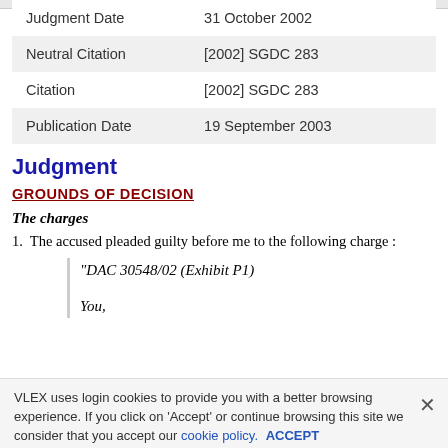| Field | Value |
| --- | --- |
| Judgment Date | 31 October 2002 |
| Neutral Citation | [2002] SGDC 283 |
| Citation | [2002] SGDC 283 |
| Publication Date | 19 September 2003 |
Judgment
GROUNDS OF DECISION
The charges
1. The accused pleaded guilty before me to the following charge :
"DAC 30548/02 (Exhibit P1)

You,
VLEX uses login cookies to provide you with a better browsing experience. If you click on 'Accept' or continue browsing this site we consider that you accept our cookie policy. ACCEPT